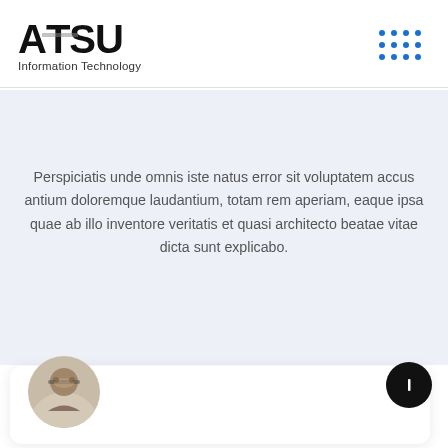ATSU Information Technology
What Customer Saying
Perspiciatis unde omnis iste natus error sit voluptatem accus antium doloremque laudantium, totam rem aperiam, eaque ipsa quae ab illo inventore veritatis et quasi architecto beatae vitae dicta sunt explicabo.
[Figure (illustration): Circular portrait photo of a person with glasses and curly hair at the bottom of the page]